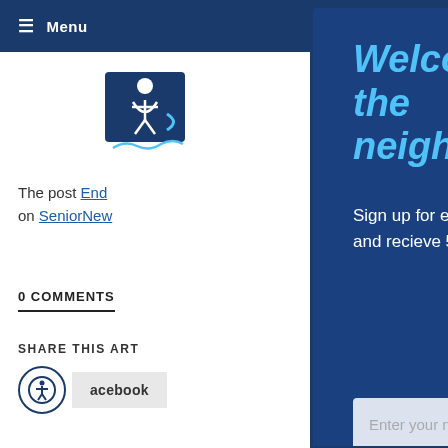≡ Menu
[Figure (logo): SeniorNews logo — blue figure with circular wave element]
The post End... on SeniorNew...
0 COMMENTS
SHARE THIS ART
[Figure (screenshot): Modal popup overlay with dark blue background. Title: 'Welcome to the neighborhood.' in italic cyan text. Body: 'Sign up for exclusive offers and content and recieve 5% OFF your next order.' Input fields for name, phone number, and email. Close button (X) in top right corner.]